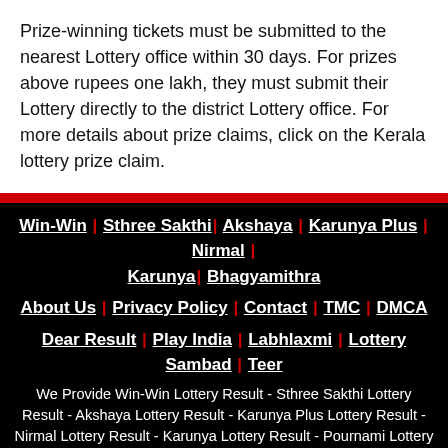Prize-winning tickets must be submitted to the nearest Lottery office within 30 days. For prizes above rupees one lakh, they must submit their Lottery directly to the district Lottery office. For more details about prize claims, click on the Kerala lottery prize claim.
Win-Win | Sthree Sakthi | Akshaya | Karunya Plus | Nirmal | Karunya | Bhagyamithra | About Us | Privacy Policy | Contact | TMC | DMCA | Dear Result | Play India | Labhlaxmi | Lottery Sambad | Teer | We Provide Win-Win Lottery Result - Sthree Sakthi Lottery Result - Akshaya Lottery Result - Karunya Plus Lottery Result - Nirmal Lottery Result - Karunya Lottery Result - Pournami Lottery Result - Bumper Lottery Result - ...